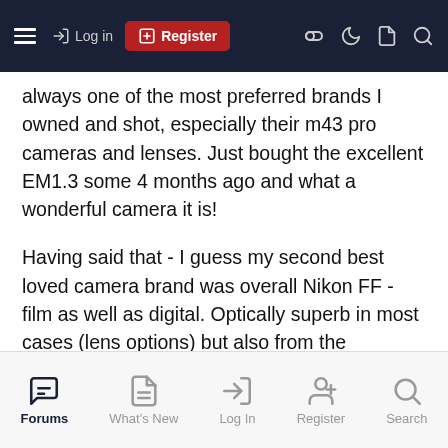Log in | Register (navigation bar)
always one of the most preferred brands I owned and shot, especially their m43 pro cameras and lenses. Just bought the excellent EM1.3 some 4 months ago and what a wonderful camera it is!
Having said that - I guess my second best loved camera brand was overall Nikon FF - film as well as digital. Optically superb in most cases (lens options) but also from the operability side of their cameras. This was/is also the main reason why I jumped on the Nikon mirrorless train with the Z7 and the 2.8/24-70 well before this announcement from Olympus. And very well it could be this will be my last camera brand I mainly work with.
Forums | What's New | Log In | Register | Search